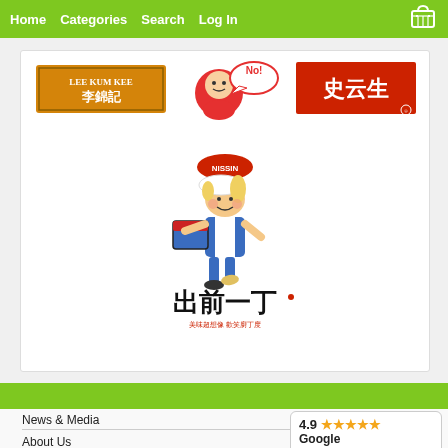Home  Categories  Search  Log In
[Figure (logo): Lee Kum Kee brand logo - golden/orange rectangular logo with Chinese text]
[Figure (logo): Cartoon character logo with 'No!' speech bubble, red and white]
[Figure (logo): Chinese brand logo in red with Chinese characters]
[Figure (logo): Nissin Demae Iccho logo - cartoon delivery boy with ramen, Japanese/Chinese text reading 出前一丁]
News & Media
About Us
4.9 ★★★★★ Google Customer Reviews